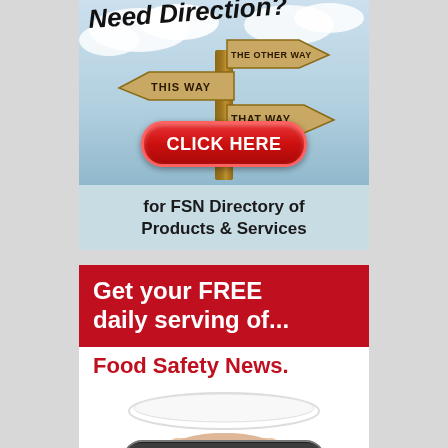[Figure (illustration): Advertisement: Road direction signpost with signs reading THIS WAY, THE OTHER WAY, THAT WAY against a cloudy sky background. Text at top reads 'Need Direction?' with a red oval CLICK HERE button at the bottom of the image.]
for FSN Directory of Products & Services
[Figure (illustration): Advertisement: Red banner reading 'Get your FREE daily serving of...' above white section with red text 'Food Safety News.' and a hand holding a white plate, with a dark subscribe button at bottom reading 'SUBSCRIBE NOW']
Get your FREE daily serving of...
Food Safety News.
SUBSCRIBE NOW